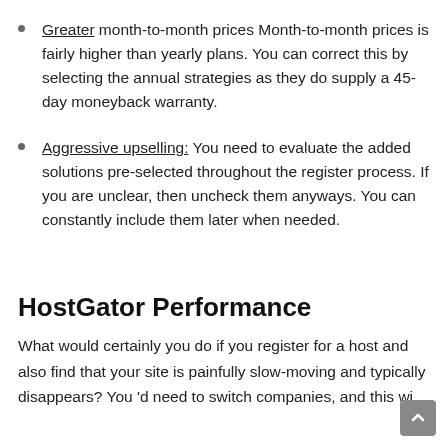Greater month-to-month prices Month-to-month prices is fairly higher than yearly plans. You can correct this by selecting the annual strategies as they do supply a 45-day moneyback warranty.
Aggressive upselling: You need to evaluate the added solutions pre-selected throughout the register process. If you are unclear, then uncheck them anyways. You can constantly include them later when needed.
HostGator Performance
What would certainly you do if you register for a host and also find that your site is painfully slow-moving and typically disappears? You 'd need to switch companies, and this wi...